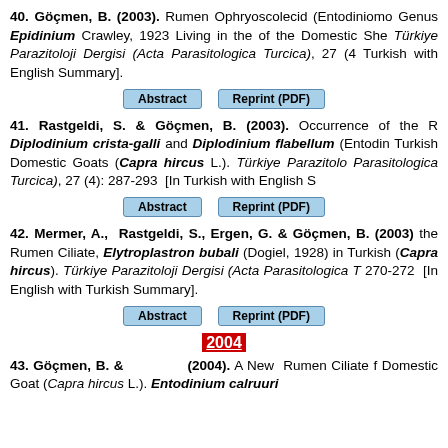40. Göçmen, B. (2003). Rumen Ophryoscolecid (Entodiniomorphid) Genus Epidinium Crawley, 1923 Living in the of the Domestic Sheep. Türkiye Parazitoloji Dergisi (Acta Parasitologica Turcica), 27 (4): [In Turkish with English Summary].
Abstract   Reprint (PDF)
41. Rastgeldi, S. & Göçmen, B. (2003). Occurrence of the Ruminant Ciliates Diplodinium crista-galli and Diplodinium flabellum (Entodiniomorphida) in Turkish Domestic Goats (Capra hircus L.). Türkiye Parazitoloji Dergisi (Acta Parasitologica Turcica), 27 (4): 287-293 [In Turkish with English Summary].
Abstract   Reprint (PDF)
42. Mermer, A., Rastgeldi, S., Ergen, G. & Göçmen, B. (2003). the Rumen Ciliate, Elytroplastron bubali (Dogiel, 1928) in Turkish (Capra hircus). Türkiye Parazitoloji Dergisi (Acta Parasitologica Turcica), 270-272 [In English with Turkish Summary].
Abstract   Reprint (PDF)
2004
43. Göçmen, B. &         (2004). A New Rumen Ciliate from Domestic Goat (Capra hircus L.). Entodinium calruuri...